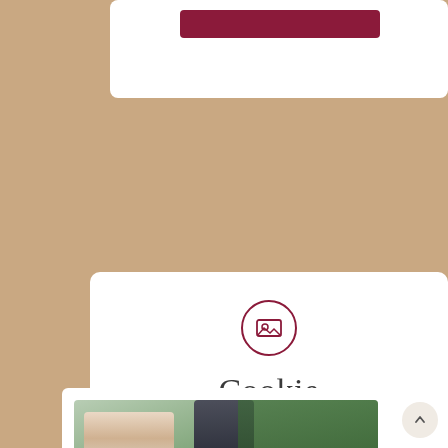[Figure (screenshot): Top white card with a dark red/maroon button bar near the top]
[Figure (illustration): White card with a circular image icon, the title 'Cookie', date 'JULY 17, 2022', and categories: BIG FEELINGS / ESSAYS AND PROSE / FICTION / LOVE / VIBRANCY]
Cookie
JULY 17, 2022
BIG FEELINGS / ESSAYS AND PROSE / FICTION / LOVE / VIBRANCY
[Figure (photo): Photo of a couple outdoors, woman in floral dress on left, man in dark shirt on right, green trees in background]